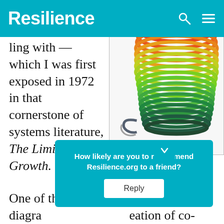Resilience
…ling with… which I was first exposed in 1972 in that cornerstone of systems literature, The Limits to Growth.
[Figure (illustration): Colorful spiral slinky-like coil book cover illustration with rainbow-gradient coils, edited by Diana Wright, Sustainability Institute]
One of the virtues of system dynamics diagrams … creation of co… eral
How likely are you to recommend Resilience.org to a friend?
Reply